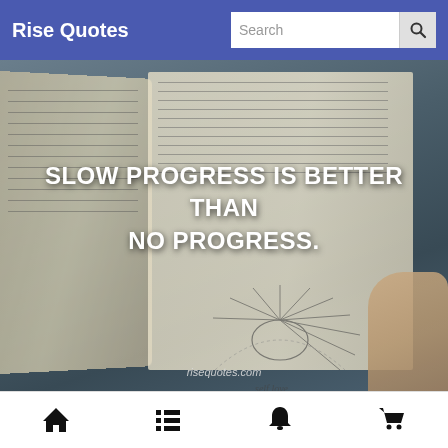Rise Quotes
[Figure (photo): An open journal/notebook with handwritten notes and a radial mind-map diagram, overlaid with the quote text 'SLOW PROGRESS IS BETTER THAN NO PROGRESS.' and watermark 'risequotes.com'. The book is held by a hand against a dark blurred background.]
"SLOW PROGRESS IS BETTER THAN NO PROGRESS."
Home | List | Bell | Cart navigation icons